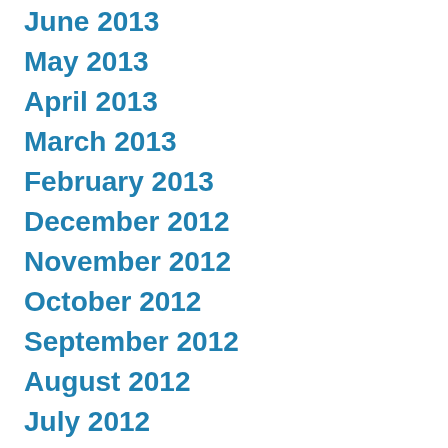June 2013
May 2013
April 2013
March 2013
February 2013
December 2012
November 2012
October 2012
September 2012
August 2012
July 2012
June 2012